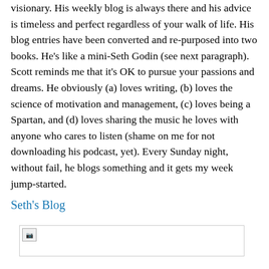visionary. His weekly blog is always there and his advice is timeless and perfect regardless of your walk of life. His blog entries have been converted and re-purposed into two books. He's like a mini-Seth Godin (see next paragraph). Scott reminds me that it's OK to pursue your passions and dreams. He obviously (a) loves writing, (b) loves the science of motivation and management, (c) loves being a Spartan, and (d) loves sharing the music he loves with anyone who cares to listen (shame on me for not downloading his podcast, yet). Every Sunday night, without fail, he blogs something and it gets my week jump-started.
Seth's Blog
[Figure (photo): Broken/unloaded image placeholder]